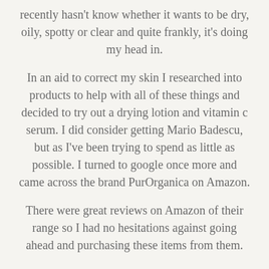recently hasn't know whether it wants to be dry, oily, spotty or clear and quite frankly, it's doing my head in.
In an aid to correct my skin I researched into products to help with all of these things and decided to try out a drying lotion and vitamin c serum. I did consider getting Mario Badescu, but as I've been trying to spend as little as possible. I turned to google once more and came across the brand PurOrganica on Amazon.
There were great reviews on Amazon of their range so I had no hesitations against going ahead and purchasing these items from them.
A little bit about PurOrganica... the products are